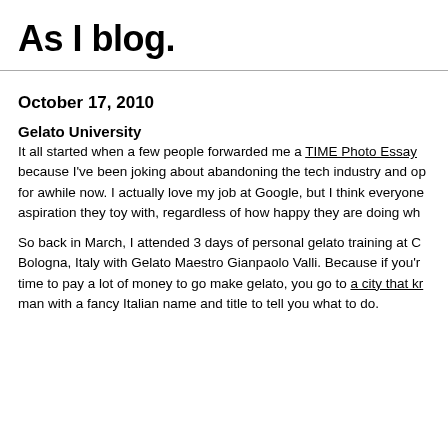As I blog.
October 17, 2010
Gelato University
It all started when a few people forwarded me a TIME Photo Essay because I've been joking about abandoning the tech industry and op for awhile now. I actually love my job at Google, but I think everyone aspiration they toy with, regardless of how happy they are doing wh
So back in March, I attended 3 days of personal gelato training at C Bologna, Italy with Gelato Maestro Gianpaolo Valli. Because if you'r time to pay a lot of money to go make gelato, you go to a city that kr man with a fancy Italian name and title to tell you what to do.